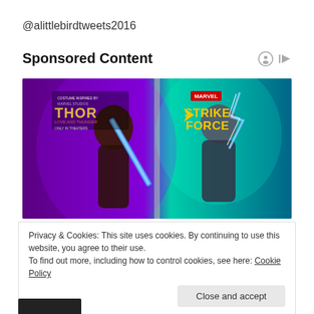@alittlebirdtweets2016
Sponsored Content
[Figure (screenshot): Marvel Strike Force sponsored advertisement featuring two female superhero characters from Thor: Love and Thunder. Left character holds a blue energy sword against a purple background; right character (Thor) holds lightning against a teal background. Marvel and Thor: Love and Thunder logos visible. Text: COSTUME INSPIRED BY MARVEL STUDIOS THOR LOVE AND THUNDER ONLY IN THEATERS, MARVEL STRIKE FORCE.]
Privacy & Cookies: This site uses cookies. By continuing to use this website, you agree to their use.
To find out more, including how to control cookies, see here: Cookie Policy
Close and accept